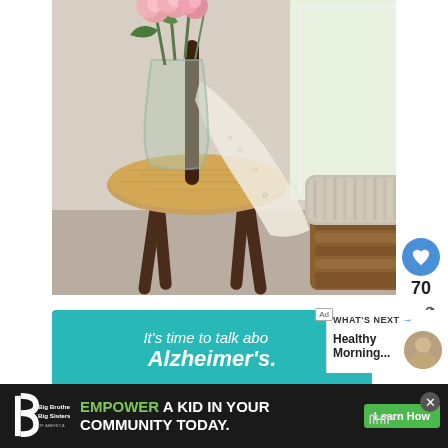[Figure (photo): Interior home decor photo showing a round wooden Thonet-style café chair with a lace/crochet shawl draped over it, a glass vase with pink roses on the chair seat, and a wicker basket with a chunky knit blanket near a bright window.]
70
[Figure (infographic): Teal advertisement banner reading: It's time to talk about Alzheimer's.]
WHAT'S NEXT → Healthy Morning...
EMPOWER A KID IN YOUR COMMUNITY TODAY.
Learn How